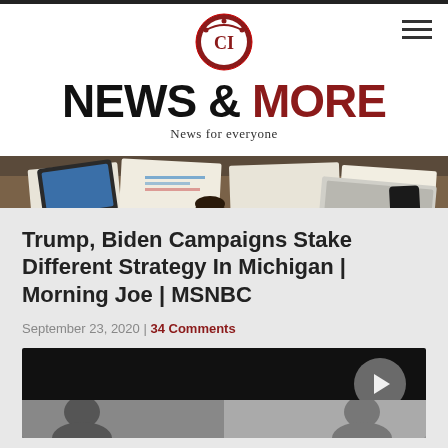[Figure (logo): News & More website logo with decorative emblem]
NEWS & MORE
News for everyone
[Figure (photo): Banner image showing office desk with documents, tablets, and stationery]
Trump, Biden Campaigns Stake Different Strategy In Michigan | Morning Joe | MSNBC
September 23, 2020 | 34 Comments
[Figure (screenshot): Video player embed showing news broadcast footage]